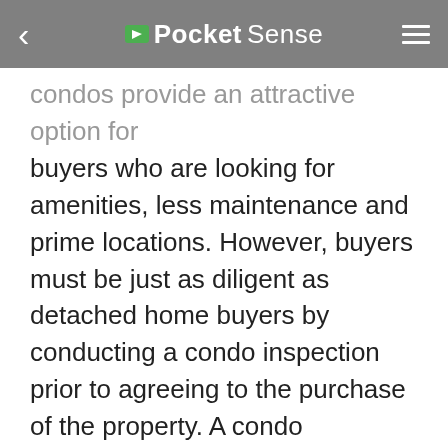PocketSense
condos provide an attractive option for buyers who are looking for amenities, less maintenance and prime locations. However, buyers must be just as diligent as detached home buyers by conducting a condo inspection prior to agreeing to the purchase of the property. A condo inspection investigates the interior and exterior of the unit to find any problems that have not been disclosed.